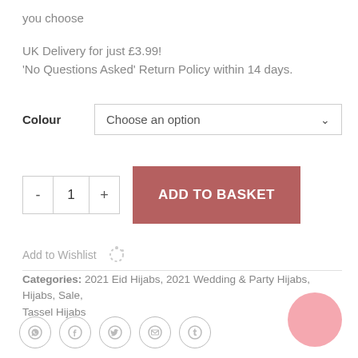you choose
UK Delivery for just £3.99!
'No Questions Asked' Return Policy within 14 days.
Colour  Choose an option
- 1 +  ADD TO BASKET
Add to Wishlist
Categories: 2021 Eid Hijabs, 2021 Wedding & Party Hijabs, Hijabs, Sale, Tassel Hijabs
[Figure (infographic): Social share icons: WhatsApp, Facebook, Twitter, Email, Tumblr. Pink circle in bottom right.]